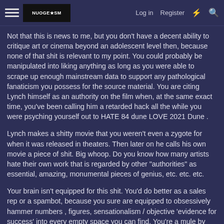Log in | Register
Not that this is news to me, but you don't have a decent ability to critique art or cinema beyond an adolescent level then, because none of that shit is relevant to my point. You could probably be manipulated into liking anything as long as you were able to scrape up enough mainstream data to support any pathological fanaticism you possess for the source material. You are citing Lynch himself as an authority on the film when, at the same exact time, you've been calling him a retarded hack all the while you were psyching yourself out to HATE 84 dune LOVE 2021 Dune .
Lynch makes a shitty movie that you weren't even a zygote for when it was released in theaters. Then later on he calls his own movie a piece of shit. Big whoop. Do you know how many artists hate their own work that is regarded by other "authorities" as essential, amazing, monumental pieces of genius, etc. etc. etc.
Your brain isn't equipped for this shit. You'd do better as a sales rep or a spambot, because you sure are equipped to obsessively hammer numbers , figures, sensationalism / objective 'evidence for success' into every empty space you can find. You're a mule by every definition of the word pal. Keep pulling the plow, by all means